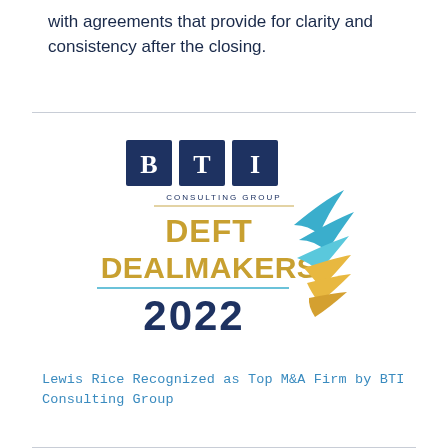with agreements that provide for clarity and consistency after the closing.
[Figure (logo): BTI Consulting Group Deft Dealmakers 2022 award logo with decorative bird/feather graphic in teal and gold]
Lewis Rice Recognized as Top M&A Firm by BTI Consulting Group